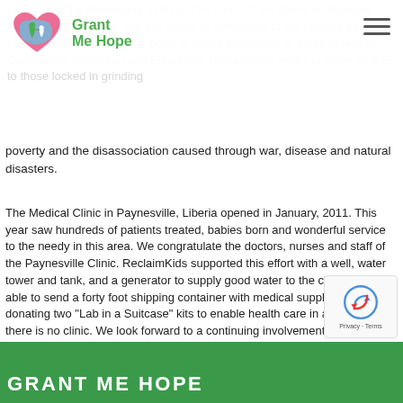Grant Me Hope
primarily in the developing nations. The focus of our ations is displaced families and orphans, with the model of attempting to put families back together as units. With the motto of giving assistance in areas of Health, Community, Protection and Education, ReclaimKids works to foster HOPE to those locked in grinding poverty and the disassociation caused through war, disease and natural disasters.
The Medical Clinic in Paynesville, Liberia opened in January, 2011. This year saw hundreds of patients treated, babies born and wonderful service to the needy in this area. We congratulate the doctors, nurses and staff of the Paynesville Clinic. ReclaimKids supported this effort with a well, water tower and tank, and a generator to supply good water to the clinic. We were able to send a forty foot shipping container with medical supplies, as well as donating two “Lab in a Suitcase” kits to enable health care in areas where there is no clinic. We look forward to a continuing involvement in this fruitful area of the ReclaimKids efforts.
GRANT ME HOPE